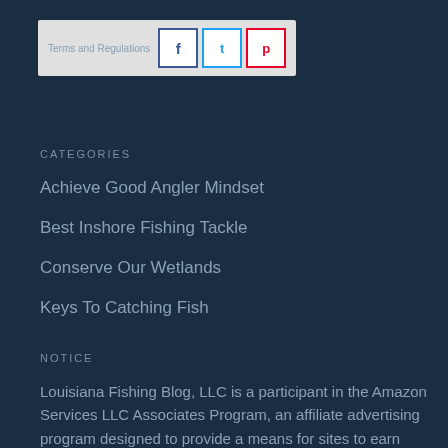[Figure (other): Social share widget with Facebook, Twitter, and Pinterest share buttons on a light grey background]
CATEGORIES
Achieve Good Angler Mindset
Best Inshore Fishing Tackle
Conserve Our Wetlands
Keys To Catching Fish
Practice Good Fishing Safety
Read Maps & Use GPS
Reliable Fishing Equipment
Understand Fishing Conditions
NOTICE
Louisiana Fishing Blog, LLC is a participant in the Amazon Services LLC Associates Program, an affiliate advertising program designed to provide a means for sites to earn advertising fees by advertising and linking to Amazon.com